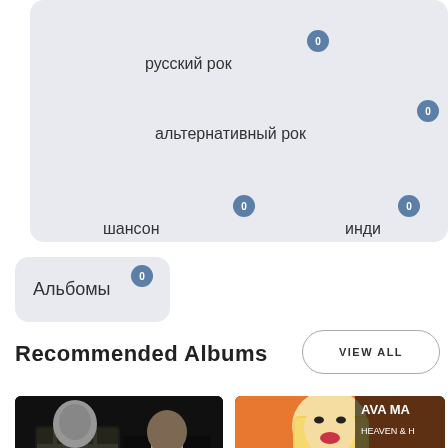[Figure (other): Music genre tag cloud on a light blue-gray rounded rectangle background, showing Russian language genre tags: русский рок, альтернативный рок, шансон, инди — each with a small blue circular badge showing 0]
Альбомы
Recommended Albums
VIEW ALL
[Figure (photo): Photo of two men in streetwear (one in plaid jacket, one in white hoodie and black jacket) — dark moody background]
[Figure (photo): Album cover for Ava Max 'Heaven & Hell' — blonde woman in orange outfit, with album title text in top right corner and a thumbs-up icon overlay]